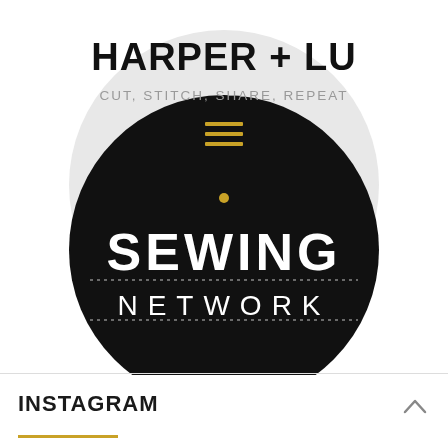[Figure (logo): Harper + Lu blog logo with circular design. Top half: light gray circle with bold black text 'HARPER + LU', subtitle 'CUT, STITCH, SHARE, REPEAT' in gray, a gold/yellow watermark script 'mood' in background, and three horizontal gold lines (hamburger menu icon). Bottom half: black circle with white text 'SEWING' in large letters and 'NETWORK' in spaced letters, separated by dotted lines above and below 'NETWORK'.]
INSTAGRAM